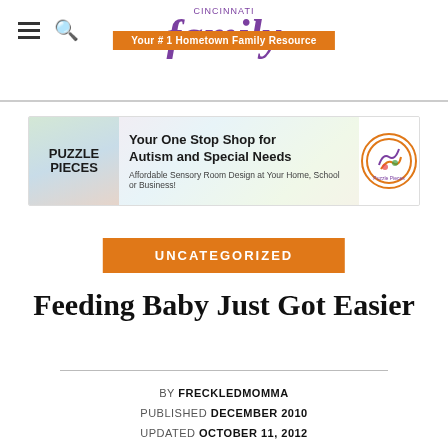Cincinnati family — Your #1 Hometown Family Resource
[Figure (illustration): Puzzle Pieces advertisement banner: Your One Stop Shop for Autism and Special Needs. Affordable Sensory Room Design at Your Home, School or Business!]
UNCATEGORIZED
Feeding Baby Just Got Easier
BY FRECKLEDMOMMA PUBLISHED DECEMBER 2010 UPDATED OCTOBER 11, 2012